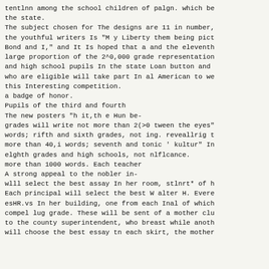tentlnn among the school children of palgn. which be the state.
The subject chosen for The designs are 11 in number, the youthful writers Is "M y Liberty them being pict Bond and I," and It Is hoped that a and the eleventh large proportion of the 2^0,000 grade representation and high school pupils In the state Loan button and who are eligible will take part In al American to we this Interesting competition.
a badge of honor.
Pupils of the third and fourth
The new posters "h it,th e Hun be- grades will write not more than 2(>0 tween the eyes" words; rifth and sixth grades, not ing. reveallrig t more than 40,i words; seventh and tonic ' kultur" In elghth grades and high schools, not nlflcance.
more than 1000 words. Each teacher
A strong appeal to the nobler in- wlll select the best assay In her room, stlnrt* of h Each principal will select the best W alter H. Evere esHR.vs In her building, one from each Inal of which compel lug grade. These will be sent of a mother clu to the county superintendent, who breast while anoth will choose the best essay tn each skirt, the mother